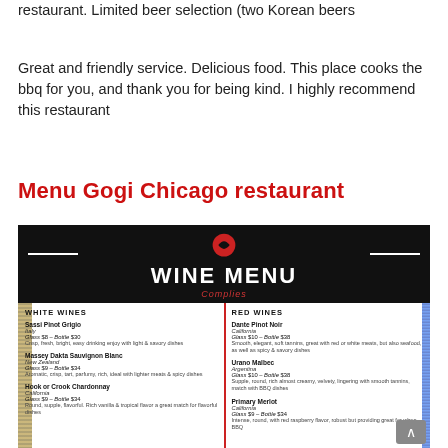restaurant. Limited beer selection (two Korean beers
Great and friendly service. Delicious food. This place cooks the bbq for you, and thank you for being kind. I highly recommend this restaurant
Menu Gogi Chicago restaurant
[Figure (photo): Photo of Gogi Chicago restaurant wine menu showing White Wines (Sassi Pinot Grigio Italy, Massey Dakta Sauvignon Blanc New Zealand, Hook or Crook Chardonnay California) and Red Wines (Dante Pinot Noir California, Urano Malbec Argentina, Primary Merlot California) with prices and descriptions.]